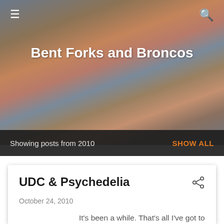Bent Forks and Broncos
Showing posts from 2010
SHOW ALL
UDC & Psychedelia
October 24, 2010
It's been a while. That's all I've got to say about that.  I've been getting my outdoor climb on recently. This is quite the change from previous years, when I was essentially a gym rat. Not that being a gym rat is a ...